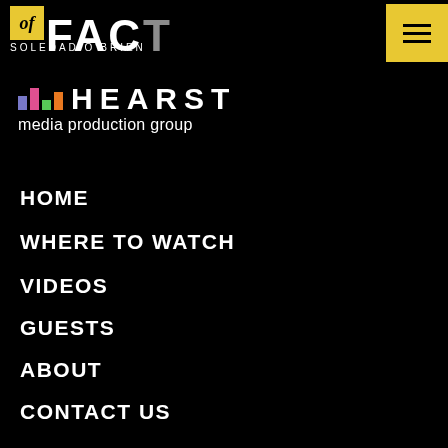[Figure (logo): Matter of Fact with Soledad O'Brien logo - yellow box with 'of' in italic, white bold FACT text, SOLEDAD O'BRIEN subtitle]
[Figure (logo): Hearst Media Production Group logo with colored bars and bold HEARST text]
HOME
WHERE TO WATCH
VIDEOS
GUESTS
ABOUT
CONTACT US
AUDIO
[Figure (logo): Listen On Spotify badge with green Spotify icon]